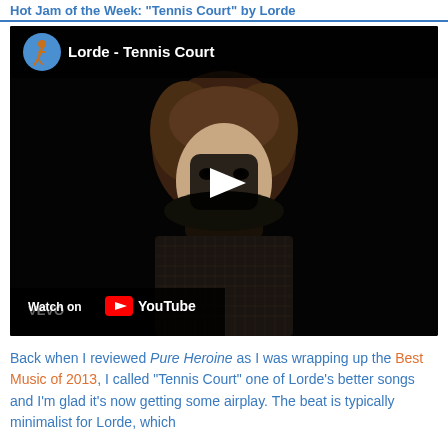Hot Jam of the Week: "Tennis Court" by Lorde
[Figure (screenshot): YouTube video embed showing Lorde - Tennis Court music video. Dark background with a young woman visible. Play button overlay in center. 'Watch on YouTube' shown in bottom left corner with YouTube logo.]
Back when I reviewed Pure Heroine as I was wrapping up the Best Music of 2013, I called "Tennis Court" one of Lorde's better songs and I'm glad it's now getting some airplay. The beat is typically minimalist for Lorde, which